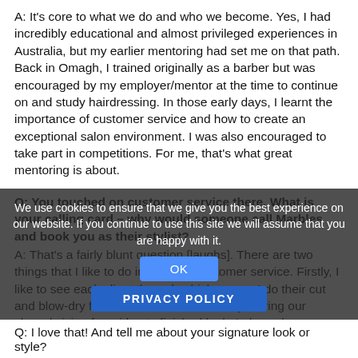A: It's core to what we do and who we become. Yes, I had incredibly educational and almost privileged experiences in Australia, but my earlier mentoring had set me on that path. Back in Omagh, I trained originally as a barber but was encouraged by my employer/mentor at the time to continue on and study hairdressing. In those early days, I learnt the importance of customer service and how to create an exceptional salon environment. I was also encouraged to take part in competitions. For me, that's what great mentoring is about.
Q: You touched on customer service there. What is your calling card – why would someone call Marbles and book you as their stylist?
A: That's a fairly blunt question [laughs]. There are two things that I like to do in terms of customer service. Firstly, I like to see each client through which means I do their cut and blow-dry from start to finish. That way, I bring our shared vision from idea to finished look. I also ask every client what they don't like instead of asking what they do. That way, I can work backwards and really build a picture of what they are working towards. It's a bit of a different approach but I find that it's much more effective as the client feels heard from the get-go.
Q: I love that! And tell me about your signature look or style?